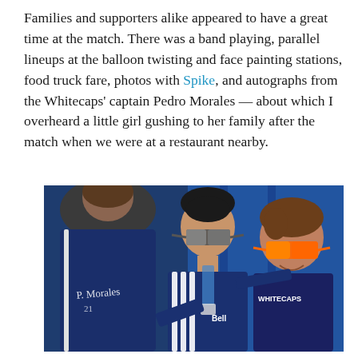Families and supporters alike appeared to have a great time at the match. There was a band playing, parallel lineups at the balloon twisting and face painting stations, food truck fare, photos with Spike, and autographs from the Whitecaps' captain Pedro Morales — about which I overheard a little girl gushing to her family after the match when we were at a restaurant nearby.
[Figure (photo): A soccer player wearing a dark blue Whitecaps jacket with white stripes and sunglasses poses with a young boy wearing orange sunglasses and a navy Whitecaps jersey. A third person in blue is visible in the foreground with an autograph signature visible on their back.]